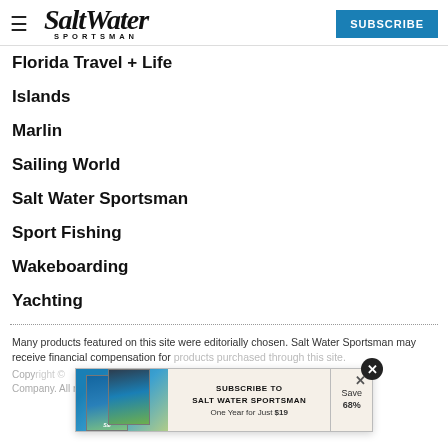Salt Water Sportsman — SUBSCRIBE
Florida Travel + Life
Islands
Marlin
Sailing World
Salt Water Sportsman
Sport Fishing
Wakeboarding
Yachting
Many products featured on this site were editorially chosen. Salt Water Sportsman may receive financial compensation for products purchased through this site.
Copyright © 2024 Salt Water Sportsman Company. All rights reserved. Reproduction in whole or in part
[Figure (infographic): Advertisement banner: Subscribe to Salt Water Sportsman, One Year for Just $19, Save 68%]